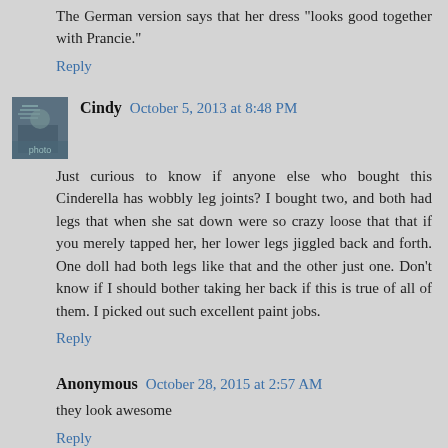The German version says that her dress "looks good together with Prancie."
Reply
Cindy  October 5, 2013 at 8:48 PM
Just curious to know if anyone else who bought this Cinderella has wobbly leg joints? I bought two, and both had legs that when she sat down were so crazy loose that that if you merely tapped her, her lower legs jiggled back and forth. One doll had both legs like that and the other just one. Don't know if I should bother taking her back if this is true of all of them. I picked out such excellent paint jobs.
Reply
Anonymous  October 28, 2015 at 2:57 AM
they look awesome
Reply